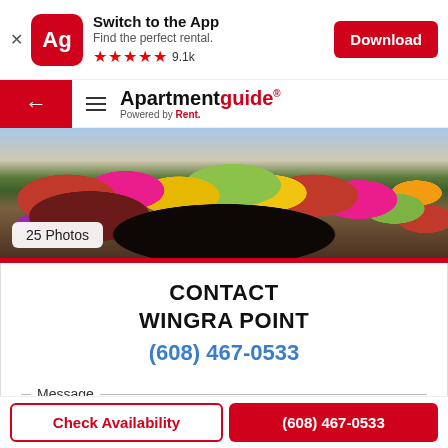[Figure (screenshot): App banner with Ag icon, 'Switch to the App' text, 5-star rating, and Download button]
[Figure (photo): Navigation bar with back arrow, hamburger menu, and Apartmentguide logo]
[Figure (photo): Colorful flower bed garden photo with '25 Photos' badge]
CONTACT
WINGRA POINT
(608) 467-0533
Message
Check Availability
(608) 467-0533